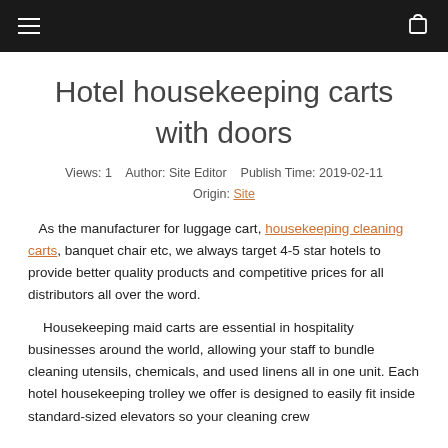Hotel housekeeping carts with doors
Views: 1    Author: Site Editor    Publish Time: 2019-02-11    Origin: Site
As the manufacturer for luggage cart, housekeeping cleaning carts, banquet chair etc, we always target 4-5 star hotels to provide better quality products and competitive prices for all distributors all over the word.
Housekeeping maid carts are essential in hospitality businesses around the world, allowing your staff to bundle cleaning utensils, chemicals, and used linens all in one unit. Each hotel housekeeping trolley we offer is designed to easily fit inside standard-sized elevators so your cleaning crew